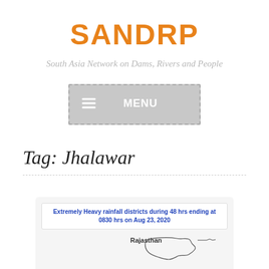SANDRP
South Asia Network on Dams, Rivers and People
[Figure (other): Menu button with hamburger icon and text MENU]
Tag: Jhalawar
[Figure (map): Map showing Extremely Heavy rainfall districts during 48 hrs ending at 0830 hrs on Aug 23, 2020, showing Rajasthan region]